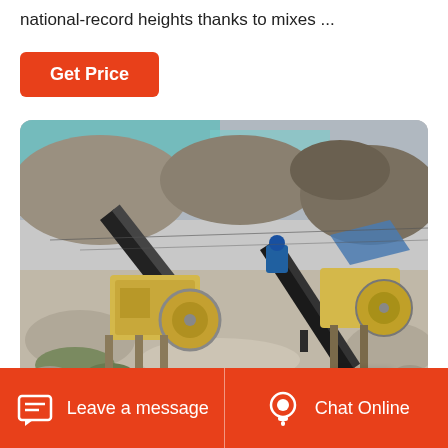national-record heights thanks to mixes ...
Get Price
[Figure (photo): Outdoor quarry/mining site with industrial crushing and conveyor belt machinery, set against rocky terrain and blue tarpaulins. Jaw crusher and belt conveyors visible in the foreground.]
Leave a message  Chat Online